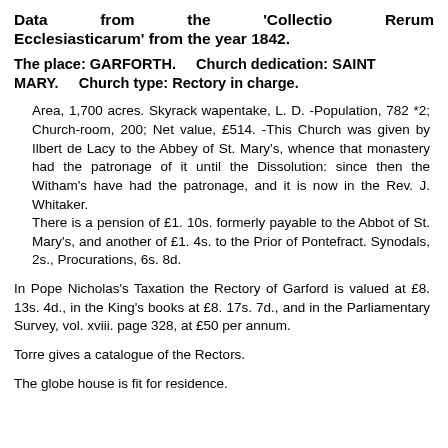Data from the 'Collectio Rerum Ecclesiasticarum' from the year 1842.
The place: GARFORTH.   Church dedication: SAINT MARY.   Church type: Rectory in charge.
Area, 1,700 acres. Skyrack wapentake, L. D. -Population, 782 *2; Church-room, 200; Net value, £514. -This Church was given by Ilbert de Lacy to the Abbey of St. Mary's, whence that monastery had the patronage of it until the Dissolution: since then the Witham's have had the patronage, and it is now in the Rev. J. Whitaker. There is a pension of £1. 10s. formerly payable to the Abbot of St. Mary's, and another of £1. 4s. to the Prior of Pontefract. Synodals, 2s., Procurations, 6s. 8d.
In Pope Nicholas's Taxation the Rectory of Garford is valued at £8. 13s. 4d., in the King's books at £8. 17s. 7d., and in the Parliamentary Survey, vol. xviii. page 328, at £50 per annum.
Torre gives a catalogue of the Rectors.
The globe house is fit for residence.